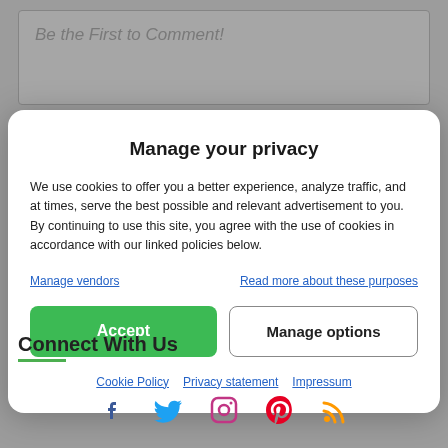Be the First to Comment!
Manage your privacy
We use cookies to offer you a better experience, analyze traffic, and at times, serve the best possible and relevant advertisement to you. By continuing to use this site, you agree with the use of cookies in accordance with our linked policies below.
Manage vendors
Read more about these purposes
Accept
Manage options
Cookie Policy  Privacy statement  Impressum
Connect With Us
[Figure (other): Social media icons: Facebook, Twitter, Instagram, Pinterest, RSS feed]